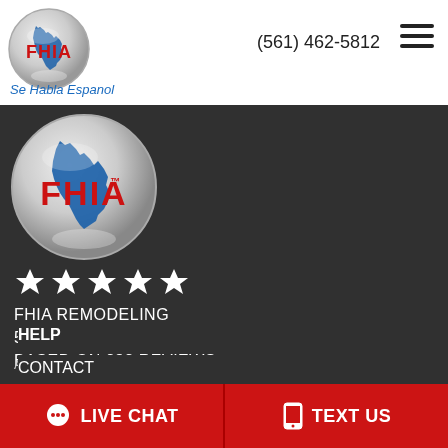[Figure (logo): FHIA circular logo with Florida state outline in blue and FHIA text in red, silver metallic background]
(561) 462-5812
Se Habla Espanol
[Figure (logo): Large FHIA circular logo with Florida state outline in blue and FHIA text in red on dark background]
★★★★★
FHIA REMODELING
5.0 OUT OF 5
BASED ON 282 REVIEWS
A RENUITY HOME IMPROVEMENT PROVIDER.
HELP
CONTACT
💬 LIVE CHAT
📱 TEXT US